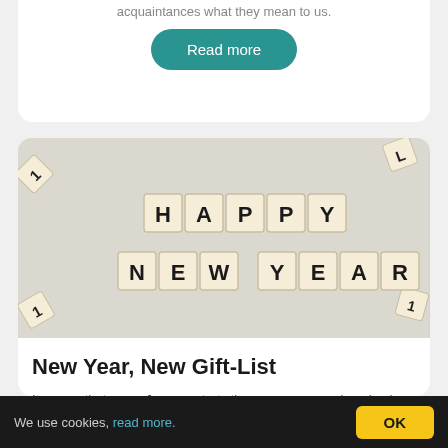acquaintances what they mean to us.
Read more
[Figure (photo): Scrabble tiles spelling out HAPPY NEW YEAR on a white background, with extra loose tiles in the corners.]
New Year, New Gift-List
It seems that every January starts the same: new goals, raised expectations, and enough
We use cookies, read more. OK